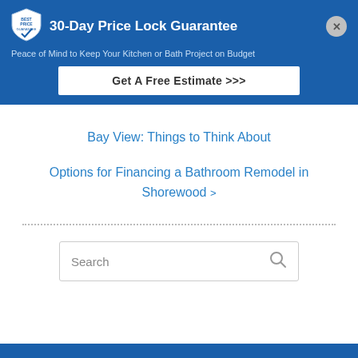[Figure (logo): Best Price Guarantee shield badge logo in white/blue]
30-Day Price Lock Guarantee
Peace of Mind to Keep Your Kitchen or Bath Project on Budget
Get A Free Estimate >>>
Bay View: Things to Think About
Options for Financing a Bathroom Remodel in Shorewood
Search